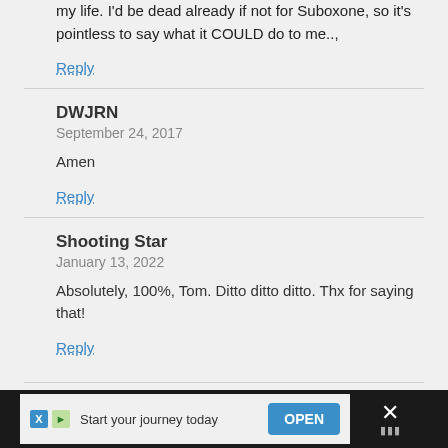my life. I'd be dead already if not for Suboxone, so it's pointless to say what it COULD do to me..,
Reply
DWJRN
September 24, 2017
Amen
Reply
Shooting Star
January 13, 2022
Absolutely, 100%, Tom. Ditto ditto ditto. Thx for saying that!
Reply